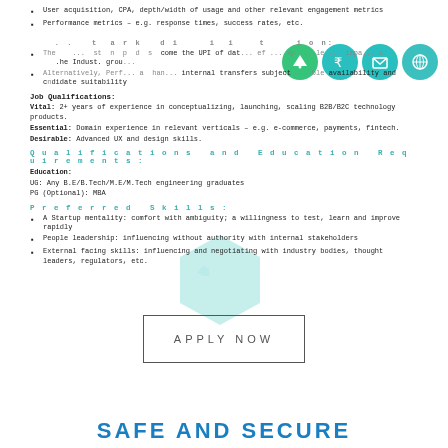User acquisition, CPA, depth/width of usage and other relevant engagement metrics
Performance metrics – e.g. response times, success rates, etc.
... mark di iti l tion:
The ... st n p d s come the UPI of dat ... ef ... xp ... le ... impa... s he Indust. grou...
Alternatively, Perf... a han... internal transfers subject ... ble availability and c ndidate suitability
Job Qualifications:
Vital: 2+ years of experience in conceptualizing, launching, scaling B2B/B2C technology products.
Essential: Domain experience in relevant verticals – e.g. e-commerce, payments, fintech.
Desirable: Advanced UX and design skills.
Qualifications and Education Requirements:
Education:
UG: Any B.E/B.Tech/M.E/M.Tech engineering graduates
PG (Optional): MBA
Preferred Skills:
A Startup mentality: comfort with ambiguity; a willingness to test, learn and improve rapidly
People leadership: influencing without authority with internal stakeholders
External facing skills: influencing and negotiating with industry bodies, thought leaders, regulators, etc.
APPLY NOW
SAFE AND SECURE